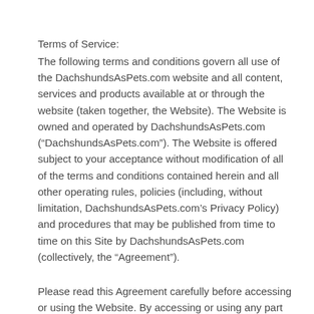Terms of Service:
The following terms and conditions govern all use of the DachshundsAsPets.com website and all content, services and products available at or through the website (taken together, the Website). The Website is owned and operated by DachshundsAsPets.com (“DachshundsAsPets.com”). The Website is offered subject to your acceptance without modification of all of the terms and conditions contained herein and all other operating rules, policies (including, without limitation, DachshundsAsPets.com’s Privacy Policy) and procedures that may be published from time to time on this Site by DachshundsAsPets.com (collectively, the “Agreement”).
Please read this Agreement carefully before accessing or using the Website. By accessing or using any part of